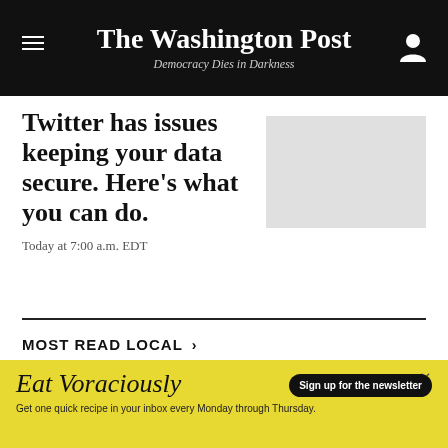The Washington Post — Democracy Dies in Darkness
Twitter has issues keeping your data secure. Here's what you can do.
Today at 7:00 a.m. EDT
MOST READ LOCAL >
[Figure (other): Advertisement banner: Eat Voraciously — Sign up for the newsletter. Get one quick recipe in your inbox every Monday through Thursday.]